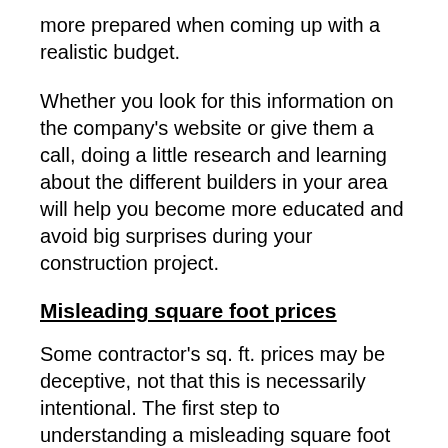more prepared when coming up with a realistic budget.
Whether you look for this information on the company's website or give them a call, doing a little research and learning about the different builders in your area will help you become more educated and avoid big surprises during your construction project.
Misleading square foot prices
Some contractor's sq. ft. prices may be deceptive, not that this is necessarily intentional. The first step to understanding a misleading square foot price is knowing what is figured into this price. Suppose a general contractor is only calculating the cost to build the house divided by the home's total square footage. In that case, this will look like a